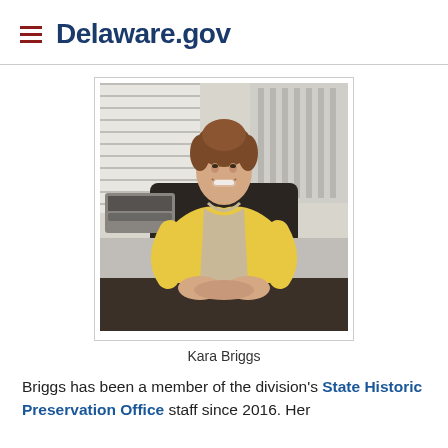Delaware.gov
[Figure (photo): Portrait photo of Kara Briggs, a woman with auburn hair wearing a yellow cardigan, seated at a desk with hands clasped, smiling at camera. Office background with blinds and radiator visible.]
Kara Briggs
Briggs has been a member of the division's State Historic Preservation Office staff since 2016. Her